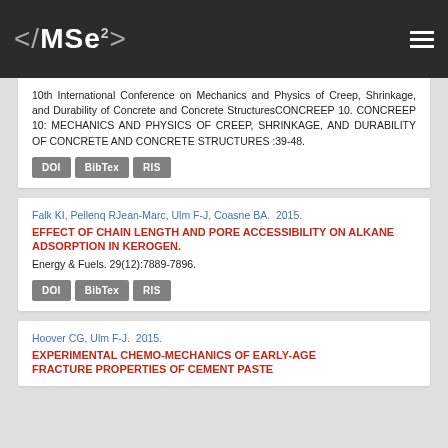<MSe> [logo]
10th International Conference on Mechanics and Physics of Creep, Shrinkage, and Durability of Concrete and Concrete StructuresCONCREEP 10. CONCREEP 10: MECHANICS AND PHYSICS OF CREEP, SHRINKAGE, AND DURABILITY OF CONCRETE AND CONCRETE STRUCTURES :39-48.
DOI  BibTex  RIS
Falk KI, Pellenq RJean-Marc, Ulm F-J, Coasne BA.  2015.
EFFECT OF CHAIN LENGTH AND PORE ACCESSIBILITY ON ALKANE ADSORPTION IN KEROGEN.
Energy & Fuels. 29(12):7889-7896.
DOI  BibTex  RIS
Hoover CG, Ulm F-J.  2015.
EXPERIMENTAL CHEMO-MECHANICS OF EARLY-AGE FRACTURE PROPERTIES OF CEMENT PASTE